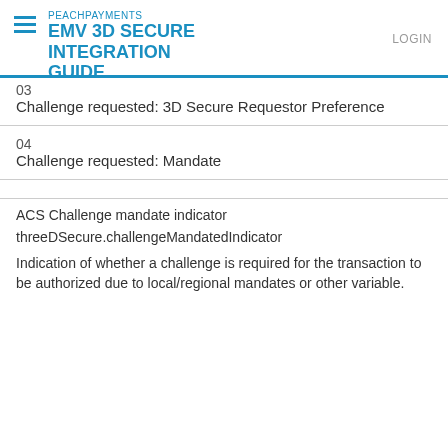PEACHPAYMENTS EMV 3D SECURE INTEGRATION GUIDE
03
Challenge requested: 3D Secure Requestor Preference
04
Challenge requested: Mandate
ACS Challenge mandate indicator
threeDSecure.challengeMandatedIndicator
Indication of whether a challenge is required for the transaction to be authorized due to local/regional mandates or other variable.